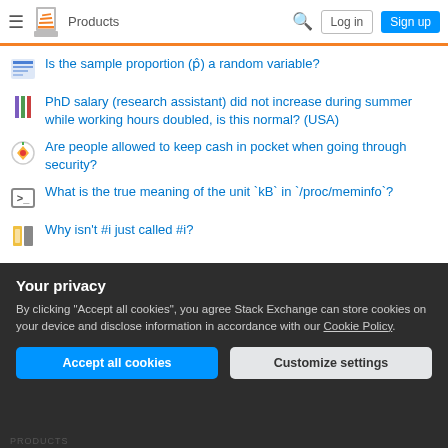Stack Exchange — Products | Log in | Sign up
Is the sample proportion (p̂) a random variable?
PhD salary (research assistant) did not increase during summer while working hours doubled, is this normal? (USA)
Are people allowed to keep cash in pocket when going through security?
What is the true meaning of the unit `kB` in `/proc/meminfo`?
Why isn't #i just called #i?
Why might I want to buy MTB clothing, rather than use road cycling kit that anyway seems exactly suitable for both sports?
What is "Hadozee wavedashing"?
Spectrum Width vs Data Carrying Capacity
Your privacy
By clicking "Accept all cookies", you agree Stack Exchange can store cookies on your device and disclose information in accordance with our Cookie Policy.
[Accept all cookies] [Customize settings]
PRODUCTS